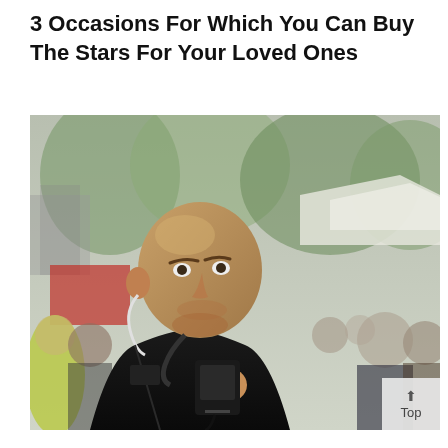3 Occasions For Which You Can Buy The Stars For Your Loved Ones
[Figure (photo): A bald man in a black uniform holding a walkie-talkie radio to his chin, with an earpiece, standing in a crowded outdoor event with blurred people and trees in the background.]